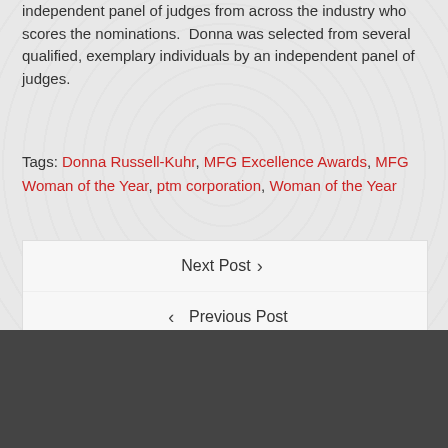independent panel of judges from across the industry who scores the nominations. Donna was selected from several qualified, exemplary individuals by an independent panel of judges.
Tags: Donna Russell-Kuhr, MFG Excellence Awards, MFG Woman of the Year, ptm corporation, Woman of the Year
Next Post ›
‹ Previous Post
RECENT NEWS
The Mazak OPTIPLEX 3015 FIBER III
PTM Corporation Invests $1.7 Million